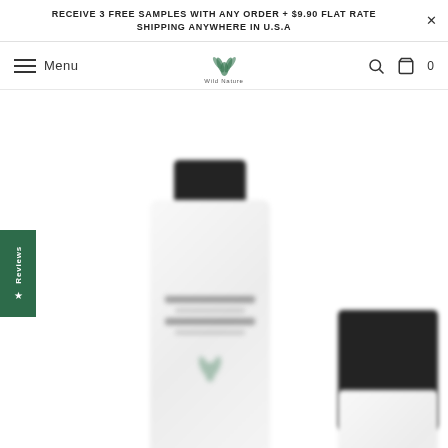RECEIVE 3 FREE SAMPLES WITH ANY ORDER + $9.90 FLAT RATE SHIPPING ANYWHERE IN U.S.A
Menu | Wild Nature | Search | Cart 0
[Figure (photo): Blurred product bottle with dark cap on white background, Wild Nature brand skincare product]
[Figure (photo): Partially visible second product bottle with dark square cap, Wild Nature brand]
★ Reviews